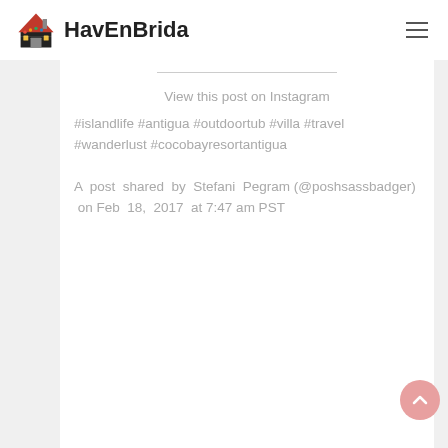HavEnBrida
View this post on Instagram
#islandlife #antigua #outdoortub #villa #travel #wanderlust #cocobayresortantigua
A post shared by Stefani Pegram (@poshsassbadger) on Feb 18, 2017 at 7:47 am PST